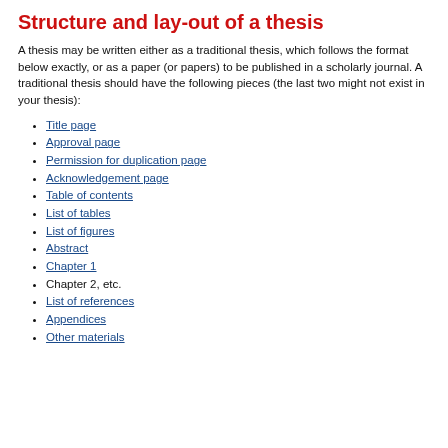Structure and lay-out of a thesis
A thesis may be written either as a traditional thesis, which follows the format below exactly, or as a paper (or papers) to be published in a scholarly journal. A traditional thesis should have the following pieces (the last two might not exist in your thesis):
Title page
Approval page
Permission for duplication page
Acknowledgement page
Table of contents
List of tables
List of figures
Abstract
Chapter 1
Chapter 2, etc.
List of references
Appendices
Other materials